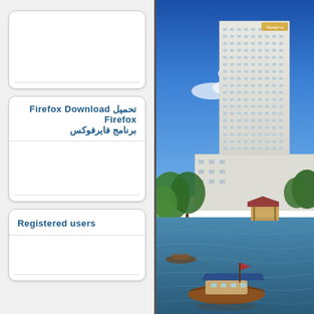[Figure (screenshot): Left panel with two UI cards. First card is empty. Second card contains Arabic and English text: تحميل Firefox Download Firefox / برنامج فايرفوكس. Third card contains text: Registered users.]
تحميل Firefox Download Firefox
برنامج فايرفوكس
Registered users
[Figure (photo): Photograph of a large white modern hotel building (Shangri-La Hotel Bangkok) beside a river with a wooden boat in the foreground, blue sky with clouds, lush green trees on the riverbank.]